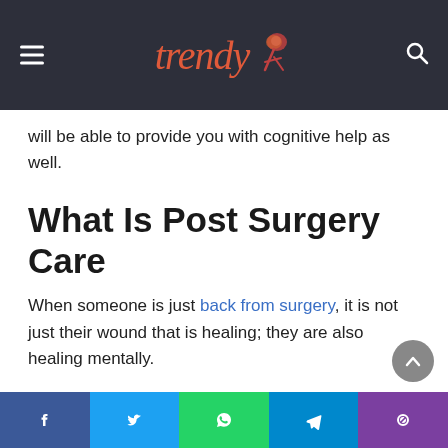Trendy [logo]
will be able to provide you with cognitive help as well.
What Is Post Surgery Care
When someone is just back from surgery, it is not just their wound that is healing; they are also healing mentally.
This means they will need someone to take care of them 24/7.
Yes, you have a period in the hospital called the post-operation. However, you are not completely healed after that.
What Do They Take Care Off
Facebook Twitter WhatsApp Telegram Phone share buttons